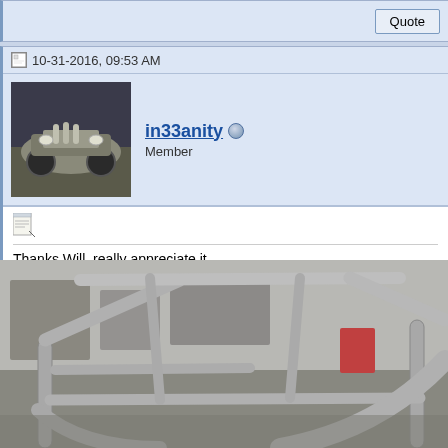Quote
10-31-2016, 09:53 AM
in33anity
Member
Thanks Will, really appreciate it.

Weekend progress on the cockpit. I had the burned out exhaust from v1 the wheels. I left room to come out through the body, but may come und on driver's side, trans oil on passenger. Picked up a couple of gussets t start getting tabs, gussets and brackets cut on the water jet soon. The h
[Figure (photo): Photo of a metal roll cage / chassis structure for a vehicle, showing bent steel tubes in a workshop setting]